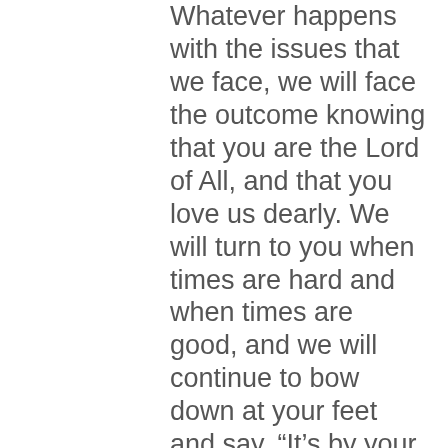Whatever happens with the issues that we face, we will face the outcome knowing that you are the Lord of All, and that you love us dearly. We will turn to you when times are hard and when times are good, and we will continue to bow down at your feet and say, “It’s by your grace and mercy, Father. Thank you!”
We know that you are faithful, God. Your